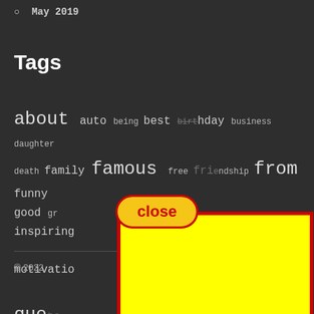May 2019
Tags
about auto being best birthday business daughter death family famous free friendship from funny good inspiring motivational quotes work your
[Figure (other): A yellow rounded rectangle UI button with red border labeled 'close' in red bold text, partially overlapping the tags content area]
[Figure (other): A large bright yellow rectangle with a thick red border overlaying the lower portion of the page]
© 2022